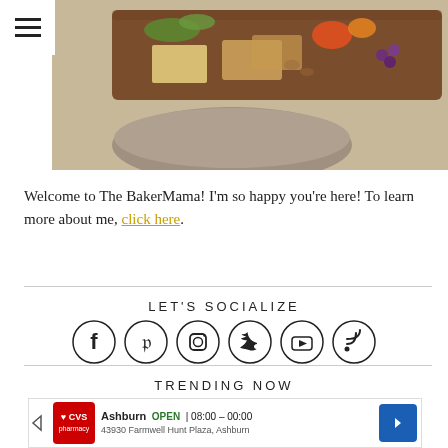[Figure (photo): Food/charcuterie board photo — wooden board with various foods on a rustic surface, partially visible at top of page]
Welcome to The BakerMama! I'm so happy you're here! To learn more about me, click here.
LET'S SOCIALIZE
[Figure (infographic): Six social media icons in circles: Facebook, Pinterest, Instagram, Twitter, YouTube, RSS]
TRENDING NOW
[Figure (screenshot): CVS Pharmacy advertisement banner: Ashburn OPEN 08:00–00:00, 43930 Farmwell Hunt Plaza, Ashburn]